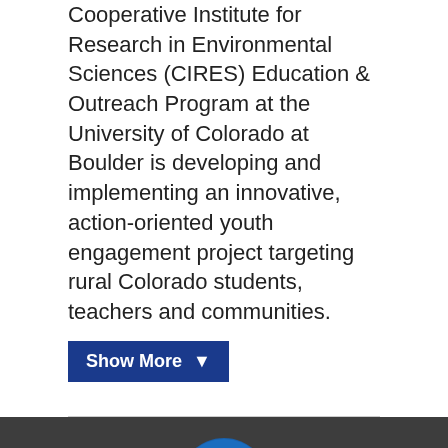Cooperative Institute for Research in Environmental Sciences (CIRES) Education &amp; Outreach Program at the University of Colorado at Boulder is developing and implementing an innovative, action-oriented youth engagement project targeting rural Colorado students, teachers and communities.
[Figure (other): Show More button with dark blue background and white text with downward arrow]
[Figure (logo): NOAA circular logo with blue background, white bird/wave graphic and NOAA text, above tagline Science. Service. Stewardship.]